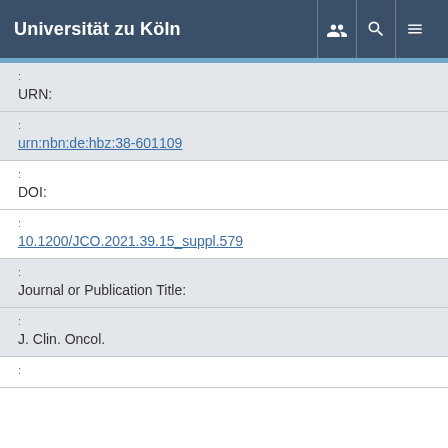Universität zu Köln
| Field | Value |
| --- | --- |
| URN: | urn:nbn:de:hbz:38-601109 |
| : | DOI: |
| : | 10.1200/JCO.2021.39.15_suppl.579 |
| : | Journal or Publication Title: |
| : | J. Clin. Oncol. |
| : |  |